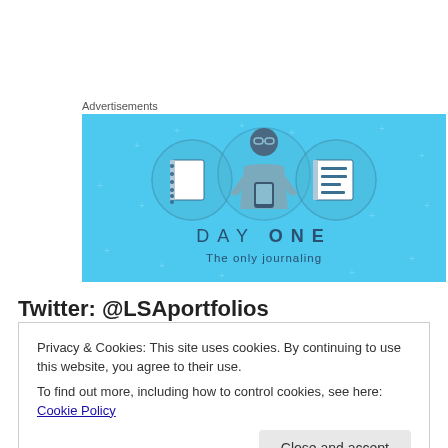Advertisements
[Figure (illustration): Day One journaling app advertisement banner with light blue background showing a cartoon person holding a phone between two notebook icons, with text 'DAY ONE' and 'The only journaling']
Twitter: @LSAportfolios
Privacy & Cookies: This site uses cookies. By continuing to use this website, you agree to their use.
To find out more, including how to control cookies, see here: Cookie Policy
Close and accept